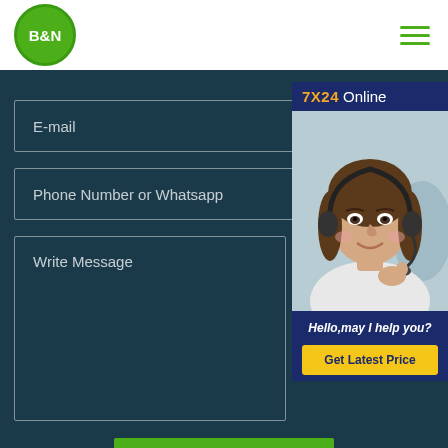[Figure (logo): B&N logo: green circle with white bold text B&N]
[Figure (other): Hamburger menu icon with three green horizontal lines]
E-mail
Phone Number or Whatsapp
Write Message
[Figure (photo): 7X24 Online chat widget with woman wearing headset. Text: Hello,may I help you? Button: Get Latest Price]